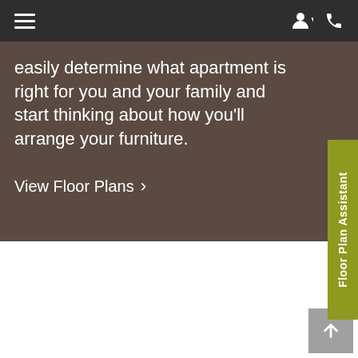Navigation bar with hamburger menu, user icon, and phone icon
easily determine what apartment is right for you and your family and start thinking about how you’ll arrange your furniture.
View Floor Plans ›
[Figure (other): Olive/yellow-green vertical sidebar tab with rotated text reading 'Floor Plan Assistant']
[Figure (other): Gray scroll-to-top button with upward arrow icon in the bottom-right corner]